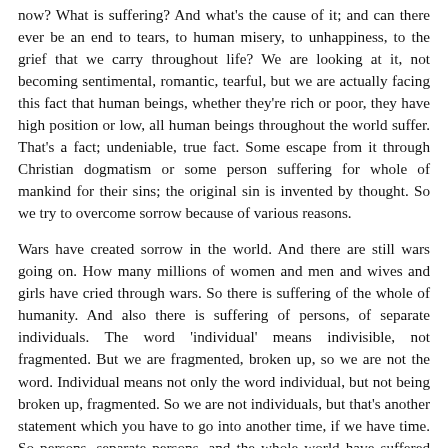now? What is suffering? And what's the cause of it; and can there ever be an end to tears, to human misery, to unhappiness, to the grief that we carry throughout life? We are looking at it, not becoming sentimental, romantic, tearful, but we are actually facing this fact that human beings, whether they're rich or poor, they have high position or low, all human beings throughout the world suffer. That's a fact; undeniable, true fact. Some escape from it through Christian dogmatism or some person suffering for whole of mankind for their sins; the original sin is invented by thought. So we try to overcome sorrow because of various reasons.
Wars have created sorrow in the world. And there are still wars going on. How many millions of women and men and wives and girls have cried through wars. So there is suffering of the whole of humanity. And also there is suffering of persons, of separate individuals. The word 'individual' means indivisible, not fragmented. But we are fragmented, broken up, so we are not the word. Individual means not only the word individual, but not being broken up, fragmented. So we are not individuals, but that's another statement which you have to go into another time, if we have time. So persons, separate persons, and the whole world have suffered through wars, through great starvation; poverty of mind, poverty of body; and revolutions have tried to change the social structure but they have not succeeded. But through that revolution killing millions of people. That too has brought great sorrow in the world.